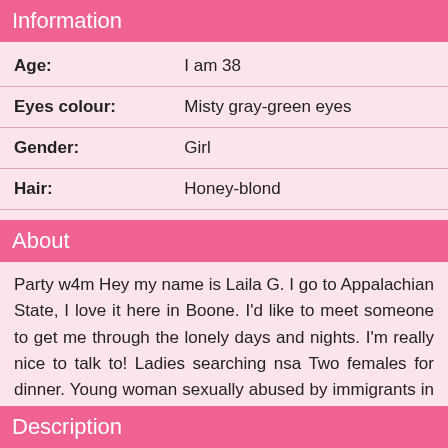Information
| Age: | I am 38 |
| Eyes colour: | Misty gray-green eyes |
| Gender: | Girl |
| Hair: | Honey-blond |
About
Party w4m Hey my name is Laila G. I go to Appalachian State, I love it here in Boone. I'd like to meet someone to get me through the lonely days and nights. I'm really nice to talk to! Ladies searching nsa Two females for dinner. Young woman sexually abused by immigrants in Sweden.
Description